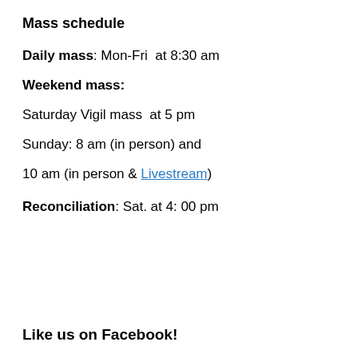Mass schedule
Daily mass: Mon-Fri  at 8:30 am
Weekend mass:
Saturday Vigil mass  at 5 pm
Sunday: 8 am (in person) and
10 am (in person & Livestream)
Reconciliation: Sat. at 4: 00 pm
Like us on Facebook!